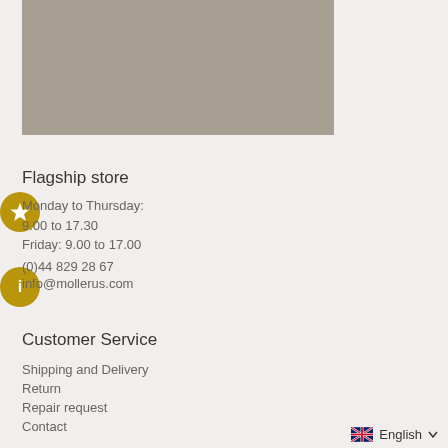[Figure (photo): A rectangular image placeholder with taupe/grey-brown background color, representing a product or store photo]
Flagship store
Monday to Thursday:
9.00 to 17.30
Friday: 9.00 to 17.00
(0)44 829 28 67
info@mollerus.com
Customer Service
Shipping and Delivery
Return
Repair request
Contact
English